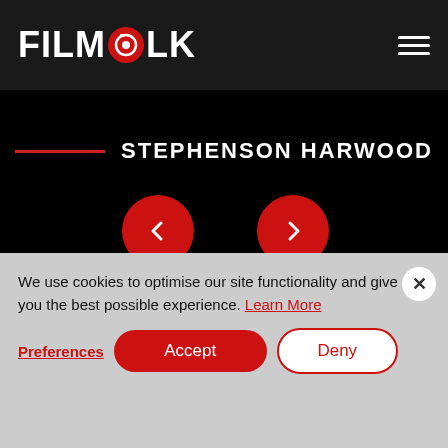FILMFOLK
STEPHENSON HARWOOD
[Figure (screenshot): Navigation UI with Previous and Next red circle buttons]
THE FILMFOLK DIFFERENCE
We use cookies to optimise our site functionality and give you the best possible experience. Learn More
Preferences  Accept  Deny